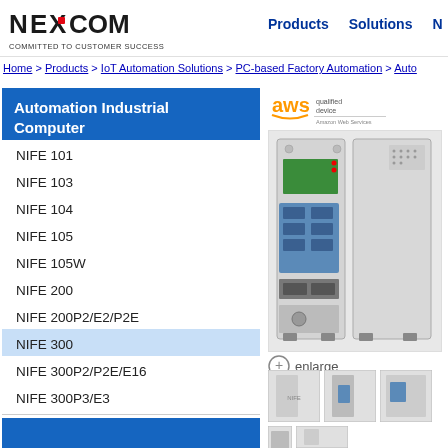[Figure (logo): NEXCOM logo with tagline COMMITTED TO CUSTOMER SUCCESS]
Products   Solutions   N...
Home > Products > IoT Automation Solutions > PC-based Factory Automation > Auto...
Automation Industrial Computer
NIFE 101
NIFE 103
NIFE 104
NIFE 105
NIFE 105W
NIFE 200
NIFE 200P2/E2/P2E
NIFE 300
NIFE 300P2/P2E/E16
NIFE 300P3/E3
[Figure (logo): AWS qualified device badge]
[Figure (photo): NEXCOM NIFE 300 industrial computer product photo, front/side view showing ports and connectors]
enlarge
[Figure (photo): Thumbnail images of NIFE 300 product from multiple angles]